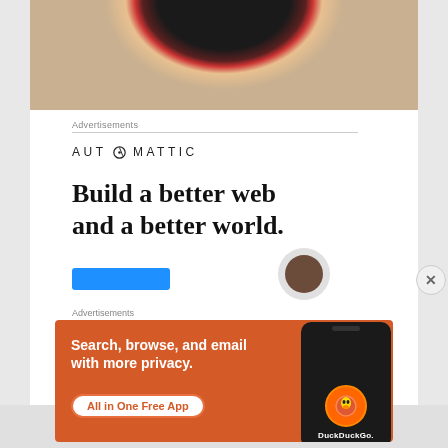[Figure (photo): Close-up photo of a circular object (wheel or puck) with dark center and red/brown textured rim, resting on a beige carpet or fabric surface]
Advertisements
[Figure (logo): Automattic logo in uppercase spaced letters with a compass/target icon replacing the letter O]
Build a better web and a better world.
Advertisements
[Figure (infographic): DuckDuckGo advertisement banner on orange background. Text: 'Search, browse, and email with more privacy. All in One Free App' with DuckDuckGo branding and phone mockup on right side.]